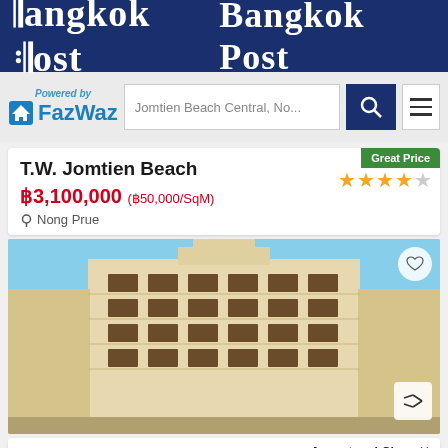Bangkok Post
[Figure (logo): FazWaz logo with 'Powered by' text above and house icon to the left of the FazWaz wordmark in blue]
Jomtien Beach Central, No...
Great Price
T.W. Jomtien Beach
฿3,100,000 (฿50,000/SqM)
Nong Prue
[Figure (photo): Exterior photo of T.W. Jomtien Beach condominium building — large beige multi-storey building with balconies, blue sky background, courtyard visible]
Accept and Close ✕
Your browser settings do not allow cross-site tracking for advertising. Click on this page to allow AdRoll to use cross-site tracking to tailor ads to you. Learn more or opt out of this AdRoll tracking by clicking here. This message only appears once.